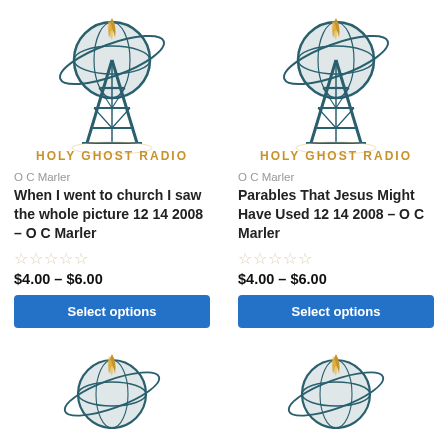[Figure (logo): Holy Ghost Radio logo - radio tower with globe and flame, text HOLY GHOST RADIO in gold, left card]
O C Marler
When I went to church I saw the whole picture 12 14 2008 – O C Marler
$4.00 – $6.00
Select options
[Figure (logo): Holy Ghost Radio logo - radio tower with globe and flame, text HOLY GHOST RADIO in gold, right card]
O C Marler
Parables That Jesus Might Have Used 12 14 2008 – O C Marler
$4.00 – $6.00
Select options
[Figure (logo): Holy Ghost Radio logo partial - globe with flame, bottom left]
[Figure (logo): Holy Ghost Radio logo partial - globe with flame, bottom right]